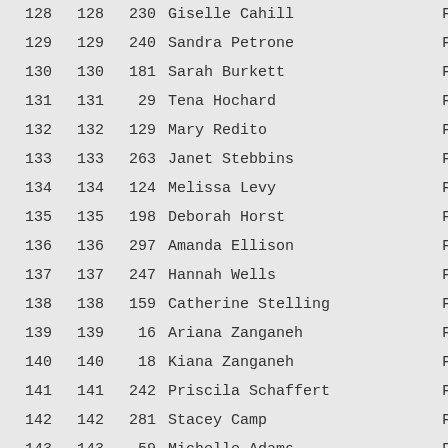| Rank1 | Rank2 | Bib | Name | Gender |
| --- | --- | --- | --- | --- |
| 128 | 128 | 230 | Giselle Cahill | F |
| 129 | 129 | 240 | Sandra Petrone | F |
| 130 | 130 | 181 | Sarah Burkett | F |
| 131 | 131 | 29 | Tena Hochard | F |
| 132 | 132 | 129 | Mary Redito | F |
| 133 | 133 | 263 | Janet Stebbins | F |
| 134 | 134 | 124 | Melissa Levy | F |
| 135 | 135 | 198 | Deborah Horst | F |
| 136 | 136 | 297 | Amanda Ellison | F |
| 137 | 137 | 247 | Hannah Wells | F |
| 138 | 138 | 159 | Catherine Stelling | F |
| 139 | 139 | 16 | Ariana Zanganeh | F |
| 140 | 140 | 18 | Kiana Zanganeh | F |
| 141 | 141 | 242 | Priscila Schaffert | F |
| 142 | 142 | 281 | Stacey Camp | F |
| 143 | 143 | 59 | Michelle Adams | F |